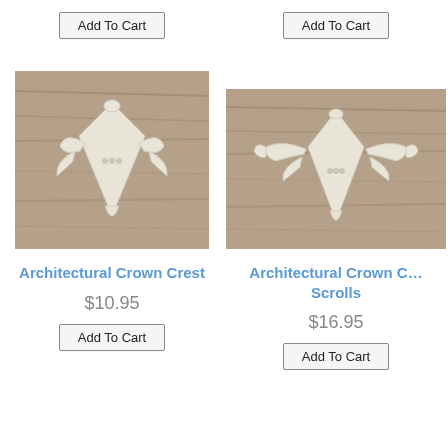[Figure (photo): White ornate architectural crown crest hardware piece on wood background]
Architectural Crown Crest
$10.95
Add To Cart
[Figure (photo): White ornate architectural crown crest with scrolls hardware piece on wood background]
Architectural Crown C... Scrolls
$16.95
Add To Cart